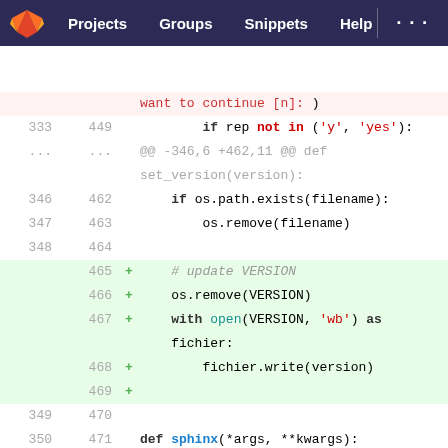Projects  Groups  Snippets  Help
[Figure (screenshot): GitLab code diff view showing Python source code changes. Lines 333-436 old, 449-557 new. Added lines include: # update VERSION, os.remove(VERSION), with open(VERSION, 'wb') as fichier:, fichier.write(version), empty line. Also shows def sphinx(*args, **kwargs), docstring, and APS.add_argument lines.]